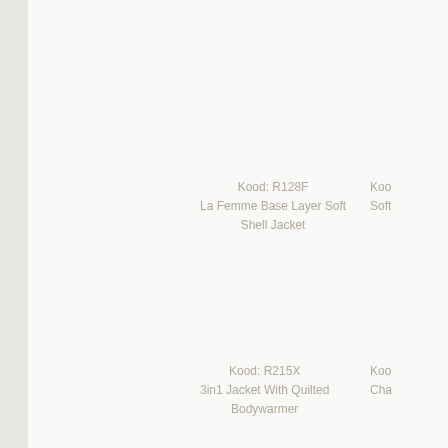Kood: R128F
La Femme Base Layer Soft Shell Jacket
Koo
Soft
Kood: R215X
3in1 Jacket With Quilted Bodywarmer
Koo
Cha